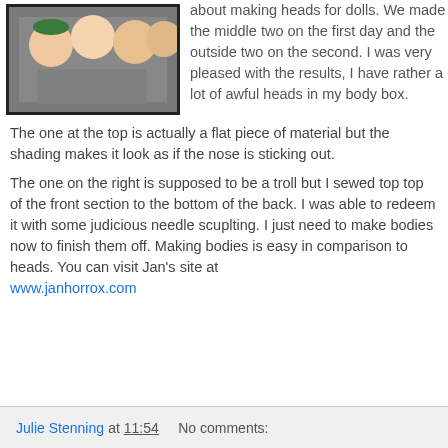[Figure (photo): Photo of four doll heads in a container, with two in the middle and two on the outside.]
about making heads for dolls. We made the middle two on the first day and the outside two on the second. I was very pleased with the results, I have rather a lot of awful heads in my body box.
The one at the top is actually a flat piece of material but the shading makes it look as if the nose is sticking out.
The one on the right is supposed to be a troll but I sewed top top of the front section to the bottom of the back. I was able to redeem it with some judicious needle scuplting. I just need to make bodies now to finish them off. Making bodies is easy in comparison to heads. You can visit Jan's site at www.janhorrox.com
Julie Stenning at 11:54   No comments: